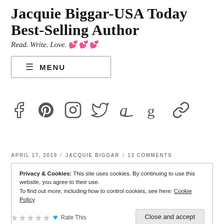Jacquie Biggar-USA Today Best-selling author
Read. Write. Love. 💕💕💕
☰ MENU
[Figure (other): Social media icons: Facebook, Pinterest, Instagram, Twitter, Amazon, Goodreads, Link]
APRIL 17, 2019 / JACQUIE BIGGAR / 12 COMMENTS
Privacy & Cookies: This site uses cookies. By continuing to use this website, you agree to their use.
To find out more, including how to control cookies, see here: Cookie Policy
Close and accept
Rate This